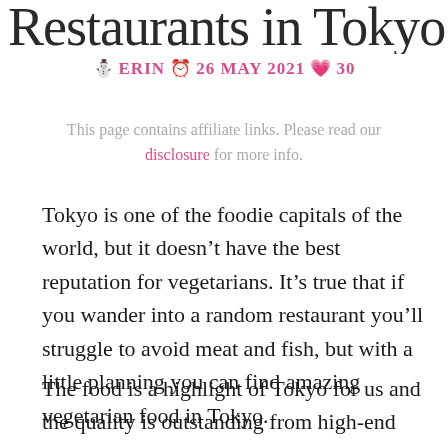Restaurants in Tokyo
Erin · 26 May 2021 · 30
This page contains affiliate links. Please read our disclosure for more info.
Tokyo is one of the foodie capitals of the world, but it doesn't have the best reputation for vegetarians. It's true that if you wander into a random restaurant you'll struggle to avoid meat and fish, but with a little planning you can find amazing vegetarian food in Tokyo.
The food is a highlight of Tokyo for us and the quality is outstanding from high-end restaurants to